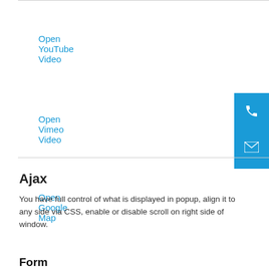Open YouTube Video
Open Vimeo Video
Open Google Map
Ajax
You have full control of what is displayed in popup, align it to any side via CSS, enable or disable scroll on right side of window.
Load Ajax Content
Form